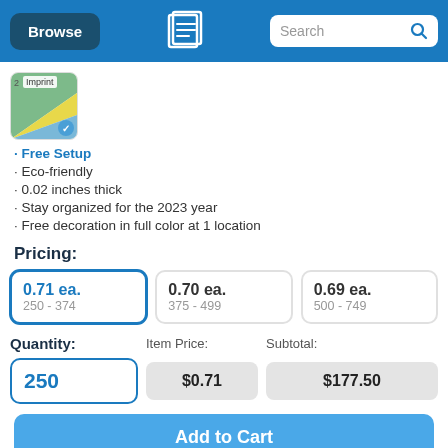Browse | [logo] | Search
[Figure (screenshot): Product thumbnail showing colored diagonal stripes (green, yellow, blue) with 'Imprint' label and checkmark badge]
• Free Setup
• Eco-friendly
• 0.02 inches thick
• Stay organized for the 2023 year
• Free decoration in full color at 1 location
Pricing:
| Price | Range |
| --- | --- |
| 0.71 ea. | 250 - 374 |
| 0.70 ea. | 375 - 499 |
| 0.69 ea. | 500 - 749 |
Quantity: | Item Price: | Subtotal:
250 | $0.71 | $177.50
Add to Cart